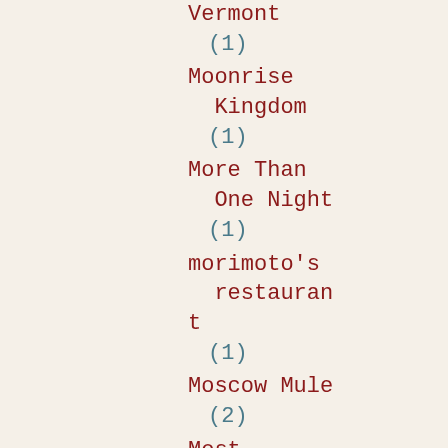Vermont (1)
Moonrise Kingdom (1)
More Than One Night (1)
morimoto's restaurant (1)
Moscow Mule (2)
Most Romantic Hero Quiz (1)
Mother's